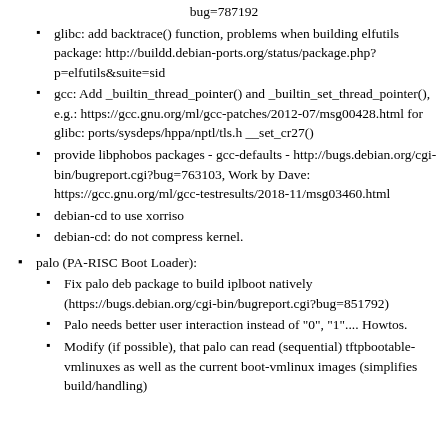bug=787192
glibc: add backtrace() function, problems when building elfutils package: http://buildd.debian-ports.org/status/package.php?p=elfutils&suite=sid
gcc: Add _builtin_thread_pointer() and _builtin_set_thread_pointer(), e.g.: https://gcc.gnu.org/ml/gcc-patches/2012-07/msg00428.html for glibc: ports/sysdeps/hppa/nptl/tls.h __set_cr27()
provide libphobos packages - gcc-defaults - http://bugs.debian.org/cgi-bin/bugreport.cgi?bug=763103, Work by Dave: https://gcc.gnu.org/ml/gcc-testresults/2018-11/msg03460.html
debian-cd to use xorriso
debian-cd: do not compress kernel.
palo (PA-RISC Boot Loader):
Fix palo deb package to build iplboot natively (https://bugs.debian.org/cgi-bin/bugreport.cgi?bug=851792)
Palo needs better user interaction instead of "0", "1".... Howtos.
Modify (if possible), that palo can read (sequential) tftpbootable-vmlinuxes as well as the current boot-vmlinux images (simplifies build/handling)